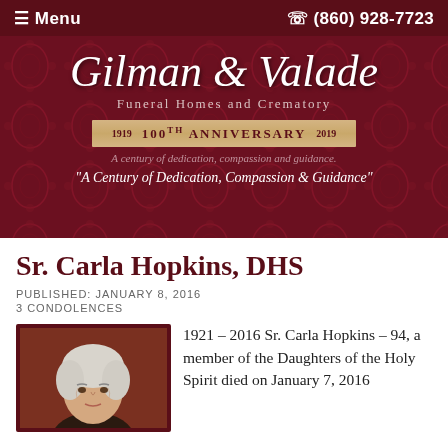≡ Menu   ☎ (860) 928-7723
[Figure (logo): Gilman & Valade Funeral Homes and Crematory banner with dark red damask background, script logo, 100th Anniversary ribbon (1919-2019), and tagline]
Sr. Carla Hopkins, DHS
PUBLISHED: JANUARY 8, 2016
3 CONDOLENCES
[Figure (photo): Portrait photo of Sr. Carla Hopkins, an elderly woman with white/silver hair, against a dark reddish-brown background]
1921 – 2016 Sr. Carla Hopkins – 94, a member of the Daughters of the Holy Spirit died on January 7, 2016